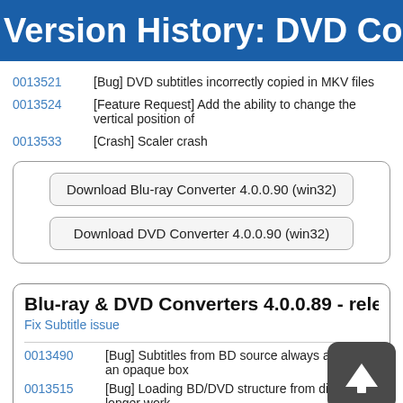Version History: DVD Conv
0013521  [Bug] DVD subtitles incorrectly copied in MKV files
0013524  [Feature Request] Add the ability to change the vertical position of
0013533  [Crash] Scaler crash
Download Blu-ray Converter 4.0.0.90 (win32)
Download DVD Converter 4.0.0.90 (win32)
Blu-ray & DVD Converters 4.0.0.89 - released Tu
Fix Subtitle issue
0013490  [Bug] Subtitles from BD source always appear in an opaque box
0013515  [Bug] Loading BD/DVD structure from disc no longer work